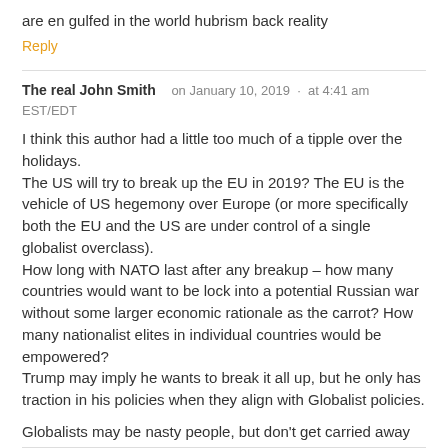are en gulfed in the world hubrism back reality
Reply
The real John Smith   on January 10, 2019  ·  at 4:41 am EST/EDT
I think this author had a little too much of a tipple over the holidays.
The US will try to break up the EU in 2019? The EU is the vehicle of US hegemony over Europe (or more specifically both the EU and the US are under control of a single globalist overclass).
How long with NATO last after any breakup – how many countries would want to be lock into a potential Russian war without some larger economic rationale as the carrot? How many nationalist elites in individual countries would be empowered?
Trump may imply he wants to break it all up, but he only has traction in his policies when they align with Globalist policies.

Globalists may be nasty people, but don't get carried away and think they'll destroy their own hegemony just for the 'evulz'.
Reply